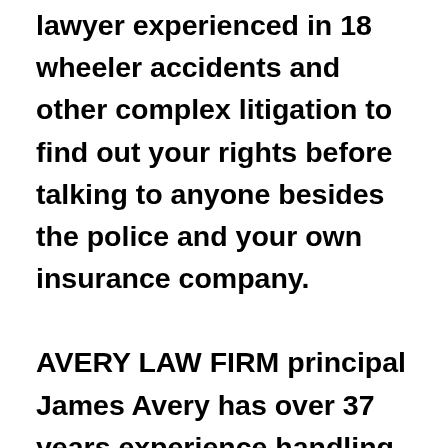lawyer experienced in 18 wheeler accidents and other complex litigation to find out your rights before talking to anyone besides the police and your own insurance company. AVERY LAW FIRM principal James Avery has over 37 years experience handling trucking accident cases, first as a defense lawyer for big